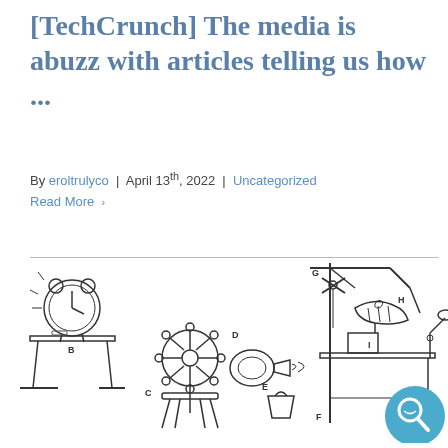[TechCrunch] The media is abuzz with articles telling us how ...
By eroltrulyco | April 13th, 2022 | Uncategorized
Read More >
[Figure (illustration): A black and white Rube Goldberg style mechanical contraption illustration with labeled parts B, C, D, E, F, G, H, I, showing an alarm clock on a table, a ship's wheel, a blower fan, scissors on a pulley, a foot/shoe pressing down, and a desk lamp, with a teal search button icon in the bottom right corner.]